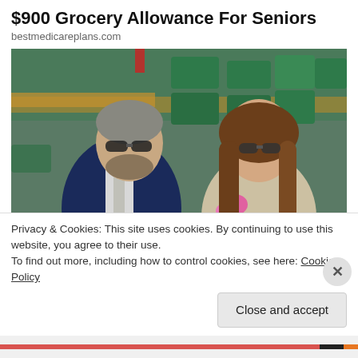$900 Grocery Allowance For Seniors
bestmedicareplans.com
[Figure (photo): Two people sitting in stadium seats at what appears to be a tennis match. An older man in a navy suit with sunglasses on the left, and a young woman with long brown hair wearing sunglasses and a pink flower on her outfit on the right. Green stadium seats visible in background.]
Privacy & Cookies: This site uses cookies. By continuing to use this website, you agree to their use.
To find out more, including how to control cookies, see here: Cookie Policy
Close and accept